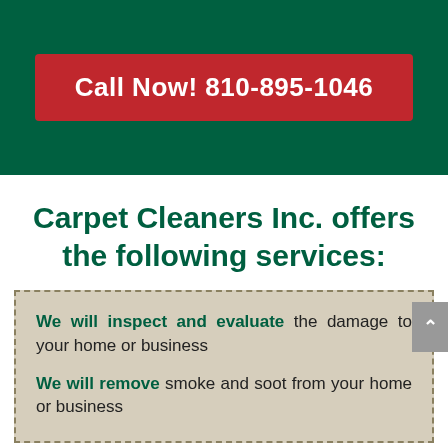Call Now! 810-895-1046
Carpet Cleaners Inc. offers the following services:
We will inspect and evaluate the damage to your home or business
We will remove smoke and soot from your home or business